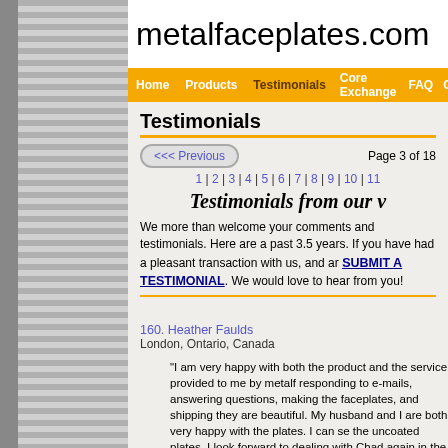metalfaceplates.com
Home | Products | Testimonials | Core Exchange | FAQ | C
Testimonials
<<< Previous    Page 3 of 18
1 | 2 | 3 | 4 | 5 | 6 | 7 | 8 | 9 | 10 | 11
Testimonials from our v
We more than welcome your comments and testimonials. Here are a past 3.5 years. If you have had a pleasant transaction with us, and ar SUBMIT A TESTIMONIAL. We would love to hear from you!
160. Heather Faulds
London, Ontario, Canada
"I am very happy with both the product and the service provided to me by metalf responding to e-mails, answering questions, making the faceplates, and shipping they are beautiful. My husband and I are both very happy with the plates. I can se the uncoated plates. I look forward to dealing with Chad again in the future. Man